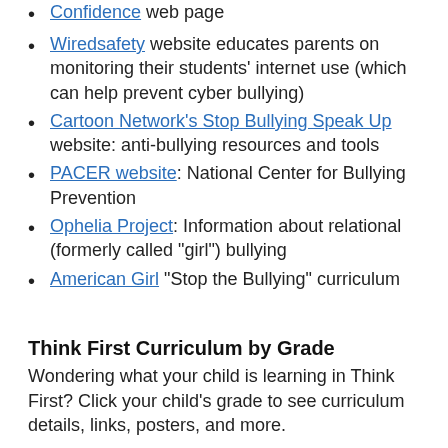Confidence web page
Wiredsafety website educates parents on monitoring their students' internet use (which can help prevent cyber bullying)
Cartoon Network's Stop Bullying Speak Up website: anti-bullying resources and tools
PACER website: National Center for Bullying Prevention
Ophelia Project: Information about relational (formerly called "girl") bullying
American Girl "Stop the Bullying" curriculum
Think First Curriculum by Grade
Wondering what your child is learning in Think First? Click your child’s grade to see curriculum details, links, posters, and more.
Kindergarten